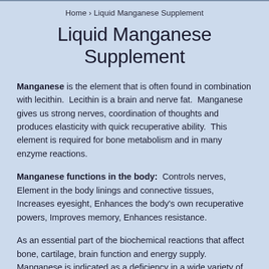Home › Liquid Manganese Supplement
Liquid Manganese Supplement
Manganese is the element that is often found in combination with lecithin. Lecithin is a brain and nerve fat. Manganese gives us strong nerves, coordination of thoughts and produces elasticity with quick recuperative ability. This element is required for bone metabolism and in many enzyme reactions.
Manganese functions in the body: Controls nerves, Element in the body linings and connective tissues, Increases eyesight, Enhances the body's own recuperative powers, Improves memory, Enhances resistance.
As an essential part of the biochemical reactions that affect bone, cartilage, brain function and energy supply. Manganese is indicated as a deficiency in a wide variety of ailments.